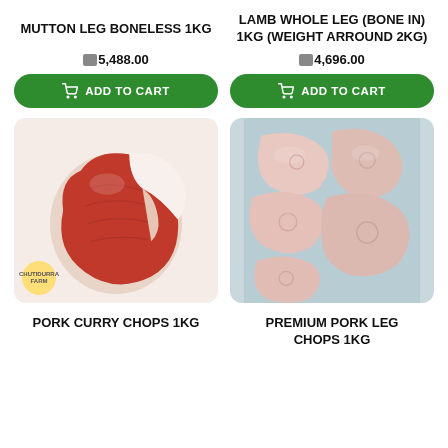MUTTON LEG BONELESS 1KG
₹5,488.00
ADD TO CART
LAMB WHOLE LEG (BONE IN) 1KG (Weight Arround 2Kg)
₹4,696.00
ADD TO CART
[Figure (photo): Raw pork curry chops with bone, reddish meat on white background, with Chutidurra Farm watermark logo]
[Figure (photo): Premium pork leg chops, multiple pale pink pieces arranged on blue/grey surface]
PORK CURRY CHOPS 1KG
PREMIUM PORK LEG CHOPS 1Kg